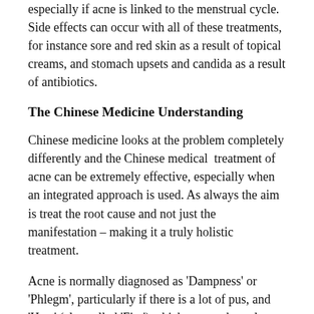especially if acne is linked to the menstrual cycle. Side effects can occur with all of these treatments, for instance sore and red skin as a result of topical creams, and stomach upsets and candida as a result of antibiotics.
The Chinese Medicine Understanding
Chinese medicine looks at the problem completely differently and the Chinese medical treatment of acne can be extremely effective, especially when an integrated approach is used. As always the aim is treat the root cause and not just the manifestation – making it a truly holistic treatment.
Acne is normally diagnosed as ‘Dampness’ or ‘Phlegm’, particularly if there is a lot of pus, and ‘Heat’ (also called ‘Fire’) which causes the redness – although cases, and treatments, differ on a person-to-person basis so there is no ‘one size fits all’ diagnosis. (there’s more on the process of diagnosis in Chinese Medicine in my book “A User’s Guide To Chinese Medicine”)
Chinese herbal medicine is the treatment of choice for acne – it can be used on its own or in combination with other